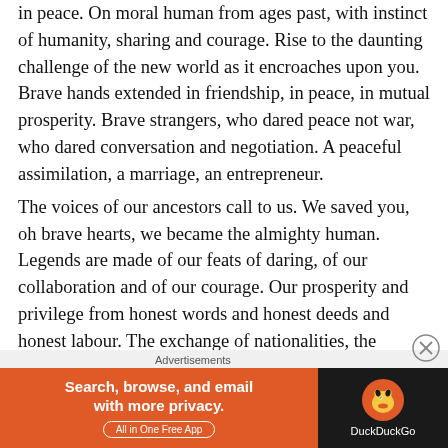in peace. On moral human from ages past, with instinct of humanity, sharing and courage. Rise to the daunting challenge of the new world as it encroaches upon you. Brave hands extended in friendship, in peace, in mutual prosperity. Brave strangers, who dared peace not war, who dared conversation and negotiation. A peaceful assimilation, a marriage, an entrepreneur.
The voices of our ancestors call to us. We saved you, oh brave hearts, we became the almighty human. Legends are made of our feats of daring, of our collaboration and of our courage. Our prosperity and privilege from honest words and honest deeds and honest labour. The exchange of nationalities, the intertwining of spirits, the flesh of the mortal man, cast in iron and honed to steel.
The land has no mercy, conquer the land, the peoples are saved. The brave accepted a challenge of rigorous duty. The call to
Advertisements
[Figure (other): DuckDuckGo advertisement banner with orange left section reading 'Search, browse, and email with more privacy. All in One Free App' and dark right section with DuckDuckGo duck logo]